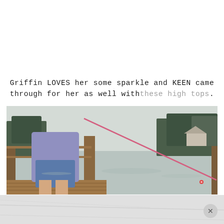Griffin LOVES her some sparkle and KEEN came through for her as well with these high tops.
[Figure (photo): Child standing on a wooden dock holding a pink fishing rod over a calm lake, wearing a purple shirt and denim shorts, with trees and a house reflected in the water in the background.]
[Figure (photo): Bottom portion of a light-colored surface, partially visible, with a circular close/dismiss button (X) in the lower right corner.]